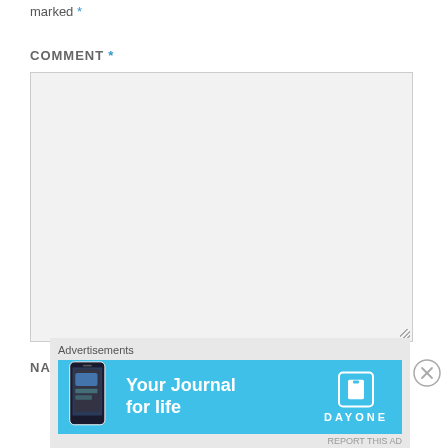marked *
COMMENT *
[Figure (screenshot): Empty comment textarea form field with light gray background and resize handle]
NAME *
[Figure (screenshot): Advertisement banner for Day One journal app with blue background showing 'Your Journal for life' text and phone mockup]
Advertisements
REPORT THIS AD